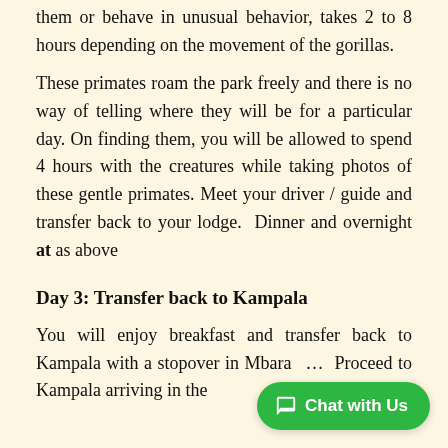them or behave in unusual behavior, takes 2 to 8 hours depending on the movement of the gorillas.
These primates roam the park freely and there is no way of telling where they will be for a particular day. On finding them, you will be allowed to spend 4 hours with the creatures while taking photos of these gentle primates. Meet your driver / guide and transfer back to your lodge. Dinner and overnight at as above
Day 3: Transfer back to Kampala
You will enjoy breakfast and transfer back to Kampala with a stopover in Mbara… Proceed to Kampala arriving in the…